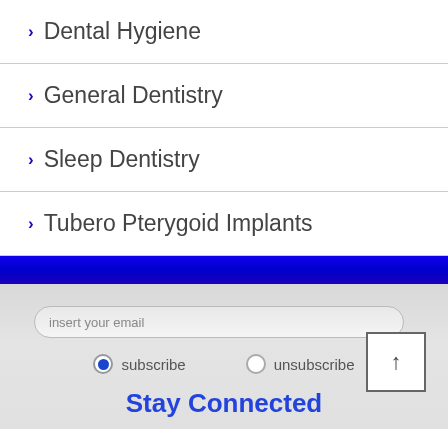Dental Hygiene
General Dentistry
Sleep Dentistry
Tubero Pterygoid Implants
insert your email
subscribe  unsubscribe
Stay Connected